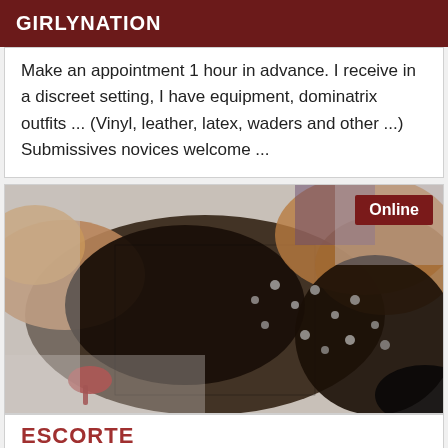GIRLYNATION
Make an appointment 1 hour in advance. I receive in a discreet setting, I have equipment, dominatrix outfits ... (Vinyl, leather, latex, waders and other ...) Submissives novices welcome ...
[Figure (photo): Person lying down wearing black fishnet top and black shorts, photographed from above on a light floor with a red object visible in the lower left. An 'Online' badge appears in the upper right corner.]
ESCORTE